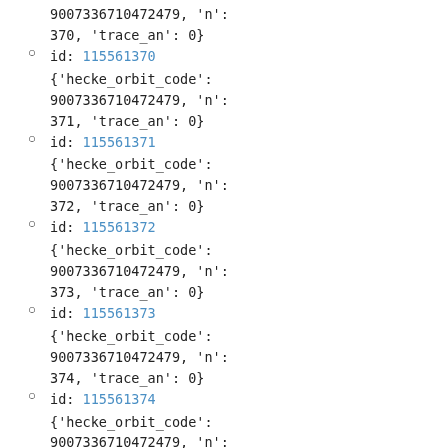9007336710472479, 'n': 370, 'trace_an': 0}
id: 115561370 {'hecke_orbit_code': 9007336710472479, 'n': 371, 'trace_an': 0}
id: 115561371 {'hecke_orbit_code': 9007336710472479, 'n': 372, 'trace_an': 0}
id: 115561372 {'hecke_orbit_code': 9007336710472479, 'n': 373, 'trace_an': 0}
id: 115561373 {'hecke_orbit_code': 9007336710472479, 'n': 374, 'trace_an': 0}
id: 115561374 {'hecke_orbit_code': 9007336710472479, 'n':